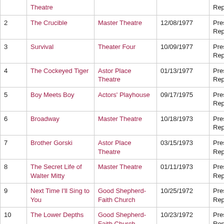| # | Title | Venue | Date | Role |
| --- | --- | --- | --- | --- |
|  | Theatre |  |  | Represent |
| 2 | The Crucible | Master Theatre | 12/08/1977 | Press Represent |
| 3 | Survival | Theater Four | 10/09/1977 | Press Represent |
| 4 | The Cockeyed Tiger | Astor Place Theatre | 01/13/1977 | Press Represent |
| 5 | Boy Meets Boy | Actors' Playhouse | 09/17/1975 | Press Represent |
| 6 | Broadway | Master Theatre | 10/18/1973 | Press Represent |
| 7 | Brother Gorski | Astor Place Theatre | 03/15/1973 | Press Represent |
| 8 | The Secret Life of Walter Mitty | Master Theatre | 01/11/1973 | Press Represent |
| 9 | Next Time I'll Sing to You | Good Shepherd-Faith Church | 10/25/1972 | Press Represent |
| 10 | The Lower Depths | Good Shepherd-Faith Church | 10/23/1972 | Press Represent |
| 11 | Women Beware Women | Good Shepherd-Faith Church | 10/16/1972 | Press Represent |